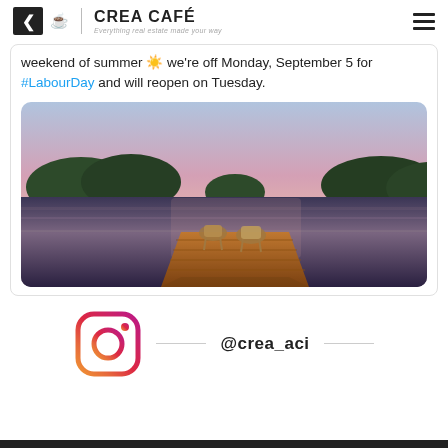CREA CAFÉ — Everything real estate made your way
weekend of summer ☀️ we're off Monday, September 5 for #LabourDay and will reopen on Tuesday.
[Figure (photo): A scenic lake at sunset with two wicker chairs sitting on a wooden dock, surrounded by forest and pastel pink and blue sky reflecting on calm water.]
[Figure (logo): Instagram logo icon (gradient circle with camera outline) next to the handle @crea_aci with decorative lines on either side.]